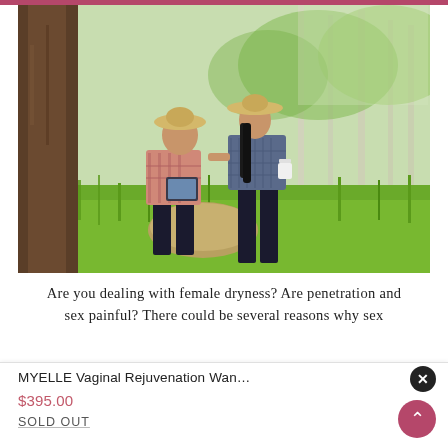[Figure (photo): A couple wearing straw hats sitting near a large tree trunk in a green rice field or meadow. The man sits on a rock/hay bale holding a tablet, while the woman stands close leaning in toward him holding a white cup. Background shows lush green trees and tall grass.]
Are you dealing with female dryness? Are penetration and sex painful? There could be several reasons why sex
MYELLE Vaginal Rejuvenation Wan…
$395.00
SOLD OUT